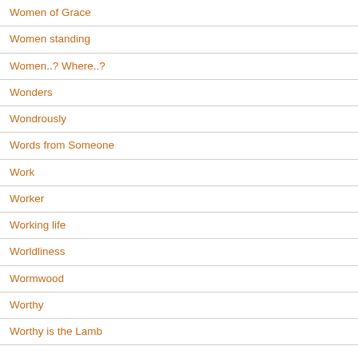Women of Grace
Women standing
Women..? Where..?
Wonders
Wondrously
Words from Someone
Work
Worker
Working life
Worldliness
Wormwood
Worthy
Worthy is the Lamb